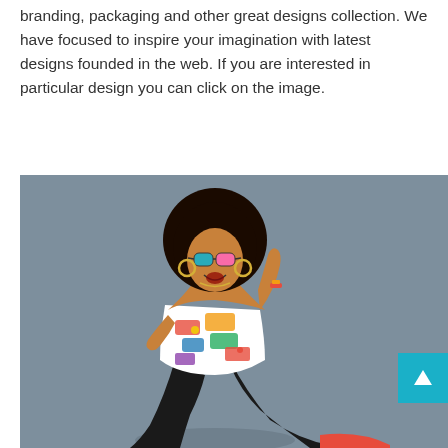branding, packaging and other great designs collection. We have focused to inspire your imagination with latest designs founded in the web. If you are interested in particular design you can click on the image.
[Figure (photo): A woman with a large afro hairstyle wearing colorful comic-print dress and fishnet stockings, posing dynamically against a gray background. A cyan/turquoise back-to-top arrow button is overlaid in the bottom-right corner of the image.]